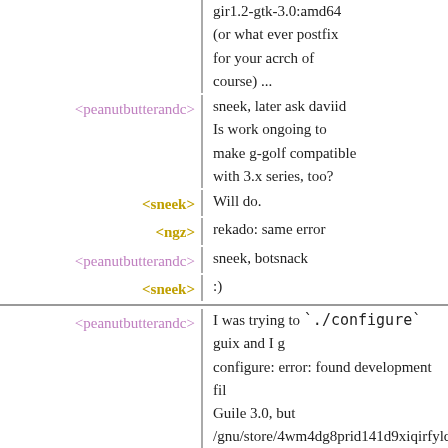gir1.2-gtk-3.0:amd64 (or what ever postfix for your acrch of course) ...
<peanutbutterandc> sneek, later ask daviid Is work ongoing to make g-golf compatible with 3.x series, too?
<sneek> Will do.
<ngz> rekado: same error
<peanutbutterandc> sneek, botsnack
<sneek> :)
<peanutbutterandc> I was trying to `./configure` guix and I g configure: error: found development fil Guile 3.0, but /gnu/store/4wm4dg8prid141d9xiqirfylq